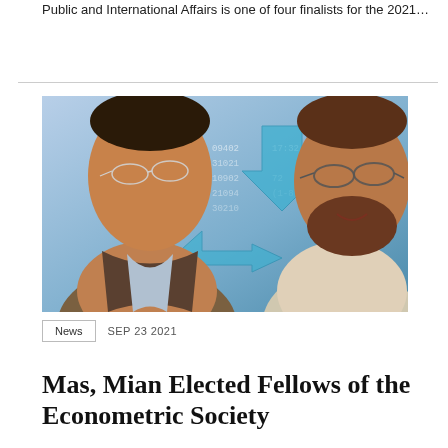Public and International Affairs is one of four finalists for the 2021…
[Figure (photo): Two men posing in front of a financial data background with blue arrows and stock ticker numbers. The man on the left is of South Asian descent wearing glasses and a brown jacket; the man on the right has a beard and glasses and is wearing a light-colored shirt.]
News   SEP 23 2021
Mas, Mian Elected Fellows of the Econometric Society